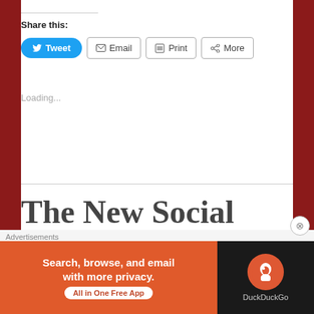Share this:
Tweet  Email  Print  More
Loading...
The New Social Jokester Warriors:
Advertisements
[Figure (screenshot): DuckDuckGo advertisement banner: 'Search, browse, and email with more privacy. All in One Free App' with DuckDuckGo logo on dark background]